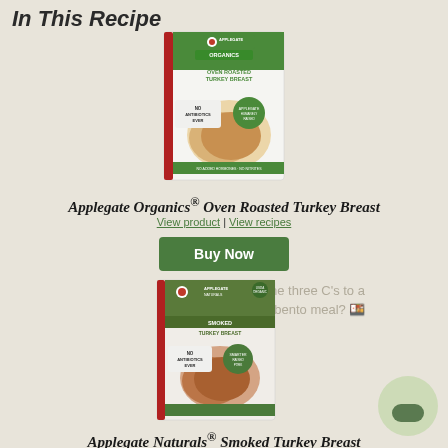In This Recipe
[Figure (photo): Applegate Organics Oven Roasted Turkey Breast deli meat package with green label, white background, showing sliced turkey]
Applegate Organics® Oven Roasted Turkey Breast
View product | View recipes
Buy Now
What are the three C's to a successful bento meal? 🍱
[Figure (photo): Applegate Naturals Smoked Turkey Breast deli meat package with green and brown label]
Applegate Naturals® Smoked Turkey Breast